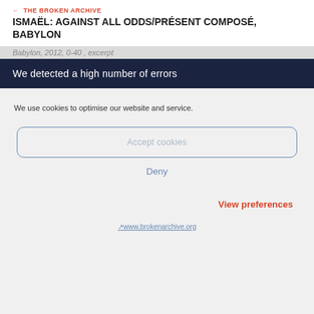← THE BROKEN ARCHIVE
ISMAËL: AGAINST ALL ODDS/PRÉSENT COMPOSÉ, BABYLON
Babylon, 2012, 0-40 , excerpt
[Figure (screenshot): Dark navy banner with white text reading 'We detected a high number of errors']
We use cookies to optimise our website and service.
Accept cookies
Deny
View preferences
↗www.brokenarchive.org